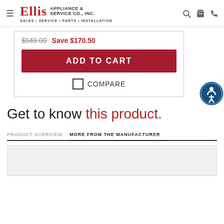Ellis Appliance & Service Co., Inc. — SALES • SERVICE • PARTS • INSTALLATION
$949.00  Save $170.50
ADD TO CART
COMPARE
Get to know this product.
PRODUCT OVERVIEW	MORE FROM THE MANUFACTURER